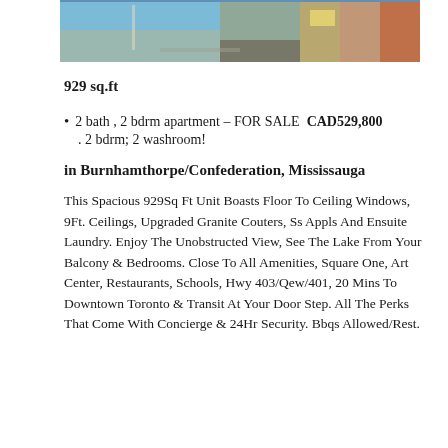[Figure (photo): Exterior photograph of a building/street scene showing sky, road, signage, and construction elements]
929 sq.ft
2 bath , 2 bdrm apartment – FOR SALE  CAD529,800
. 2 bdrm; 2 washroom!
in Burnhamthorpe/Confederation, Mississauga
This Spacious 929Sq Ft Unit Boasts Floor To Ceiling Windows, 9Ft. Ceilings, Upgraded Granite Couters, Ss Appls And Ensuite Laundry. Enjoy The Unobstructed View, See The Lake From Your Balcony & Bedrooms. Close To All Amenities, Square One, Art Center, Restaurants, Schools, Hwy 403/Qew/401, 20 Mins To Downtown Toronto & Transit At Your Door Step. All The Perks That Come With Concierge & 24Hr Security. Bbqs Allowed/Rest.